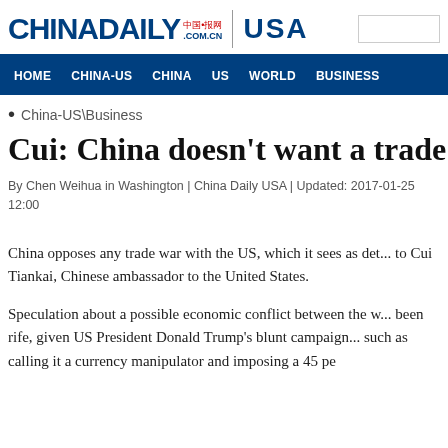[Figure (logo): China Daily logo with Chinese characters, .COM.CN, divider, and USA text]
HOME  CHINA-US  CHINA  US  WORLD  BUSINESS
China-US\Business
Cui: China doesn't want a trade
By Chen Weihua in Washington | China Daily USA | Updated: 2017-01-25 12:00
China opposes any trade war with the US, which it sees as det... to Cui Tiankai, Chinese ambassador to the United States.
Speculation about a possible economic conflict between the w... been rife, given US President Donald Trump's blunt campaign... such as calling it a currency manipulator and imposing a 45 pe